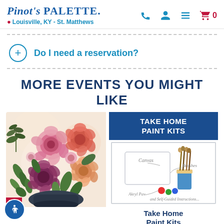Pinot's Palette - Louisville, KY - St. Matthews
Do I need a reservation?
MORE EVENTS YOU MIGHT LIKE
[Figure (photo): Floral painting with pink, red, and purple roses with green leaves in a dark vase]
[Figure (infographic): Take Home Paint Kits promotional card with canvas, brushes, acrylic paint and self-guided instructions illustrated]
Take Home Paint Kits